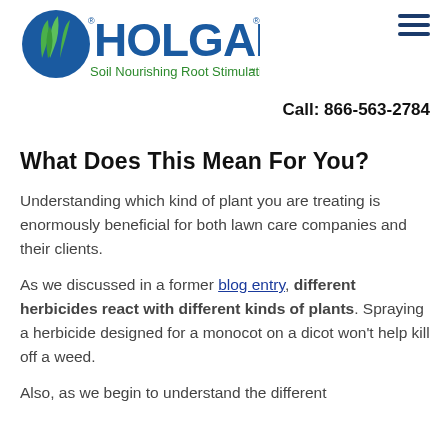HOLGANIX — Soil Nourishing Root Stimulating℠ | Call: 866-563-2784
What Does This Mean For You?
Understanding which kind of plant you are treating is enormously beneficial for both lawn care companies and their clients.
As we discussed in a former blog entry, different herbicides react with different kinds of plants. Spraying a herbicide designed for a monocot on a dicot won't help kill off a weed.
Also, as we begin to understand the different